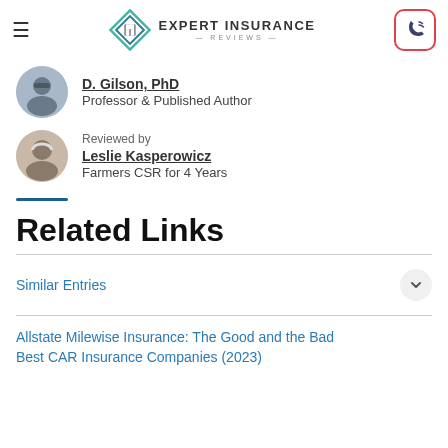Expert Insurance Reviews
D. Gilson, PhD
Professor & Published Author
Reviewed by
Leslie Kasperowicz
Farmers CSR for 4 Years
Related Links
Similar Entries
Allstate Milewise Insurance: The Good and the Bad
Best CAR Insurance Companies (2023)